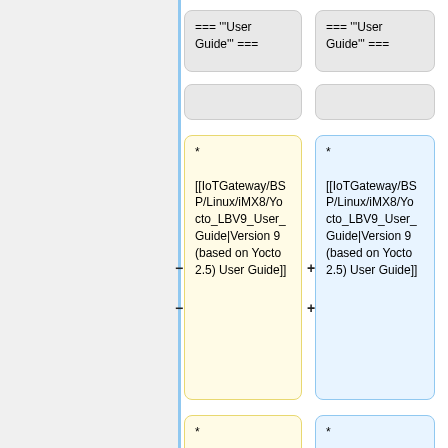[Figure (flowchart): Wiki diff comparison view showing two columns of wiki markup boxes. Left column has yellow background (removed/old) and right column has blue background (added/new). Shows two rows of content blocks: top row shows '=== """User Guide""" ===' heading boxes and empty boxes; second row shows list items with [[IoTGateway/BSP/Linux/iMX8/Yocto_LBV9_User_Guide|Version 9 (based on Yocto 2.5) User Guide]] in both yellow and blue boxes with minus/plus symbols; third row (partially visible) shows [[IoTGateway/BSP/Linux/iMX8/Yocto_LBVA_User_Guide|Version A (based on Yocto 3.0) User Guide]] in yellow and blue boxes.]